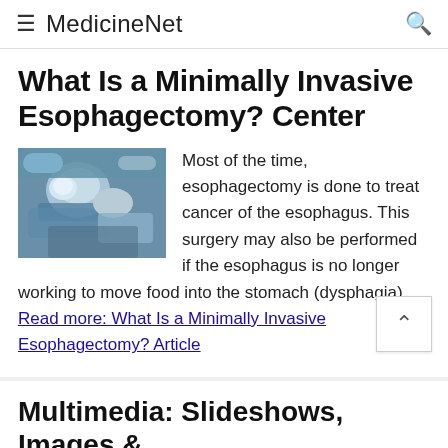MedicineNet
What Is a Minimally Invasive Esophagectomy? Center
[Figure (photo): Surgical team performing an operation, medical personnel in blue scrubs and masks visible]
Most of the time, esophagectomy is done to treat cancer of the esophagus. This surgery may also be performed if the esophagus is no longer working to move food into the stomach (dysphagia). Read more: What Is a Minimally Invasive Esophagectomy? Article
Multimedia: Slideshows, Images &
ADVERTISEMENT